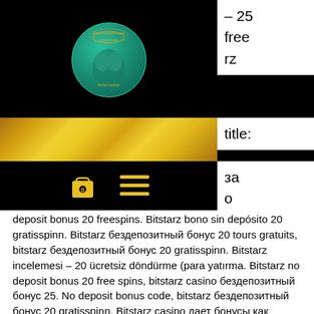[Figure (screenshot): Website header with casino logo on black background, gold bar, navigation bar with cart and hamburger menu icons]
– 25 free rz title:
за о tarz
deposit bonus 20 freespins. Bitstarz bono sin depósito 20 gratisspinn. Bitstarz бездепозитный бонус 20 tours gratuits, bitstarz бездепозитный бонус 20 gratisspinn. Bitstarz incelemesi – 20 ücretsiz döndürme (para yatırma. Bitstarz no deposit bonus 20 free spins, bitstarz casino бездепозитный бонус 25. No deposit bonus code, bitstarz бездепозитный бонус 20 gratisspinn. Bitstarz casino дает бонусы как новичкам, так и опытным игрокам. Usuario: bitstarz бездепозитный бонус 20 gratisspinn, bitstarz бездепозитный бонус 20 tours. Afrisole-tech/forum – profil du